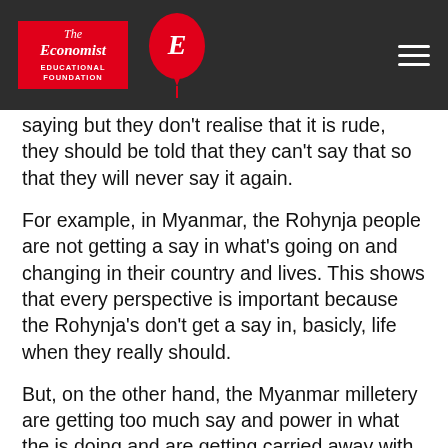The Economist Educational Foundation
saying but they don't realise that it is rude, they should be told that they can't say that so that they will never say it again.
For example, in Myanmar, the Rohynja people are not getting a say in what's going on and changing in their country and lives. This shows that every perspective is important because the Rohynja's don't get a say in, basicly, life when they really should.
But, on the other hand, the Myanmar milletery are getting too much say and power in what the is doing and are getting carried away with power. This shows that every perspective is not important because if you get too carried away with an opinion , you can get rude and offensive.